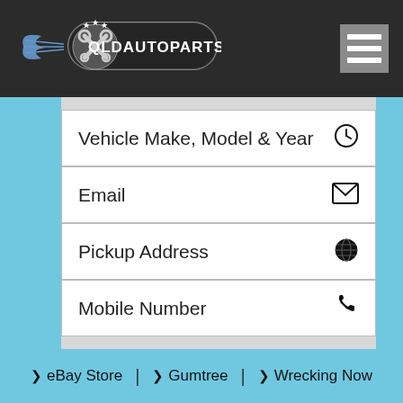[Figure (logo): QLDAUTOPARTS logo with crossed wrenches/tools and wing design on dark background]
[Figure (other): Hamburger menu icon (three white horizontal bars on grey background)]
Vehicle Make, Model & Year
Email
Pickup Address
Mobile Number
> eBay Store | > Gumtree | > Wrecking Now